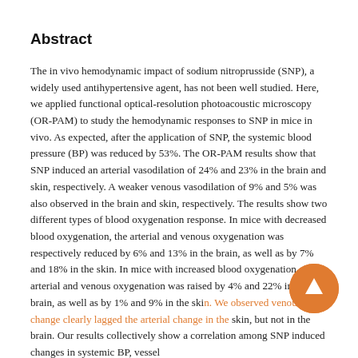Abstract
The in vivo hemodynamic impact of sodium nitroprusside (SNP), a widely used antihypertensive agent, has not been well studied. Here, we applied functional optical-resolution photoacoustic microscopy (OR-PAM) to study the hemodynamic responses to SNP in mice in vivo. As expected, after the application of SNP, the systemic blood pressure (BP) was reduced by 53%. The OR-PAM results show that SNP induced an arterial vasodilation of 24% and 23% in the brain and skin, respectively. A weaker venous vasodilation of 9% and 5% was also observed in the brain and skin, respectively. The results show two different types of blood oxygenation response. In mice with decreased blood oxygenation, the arterial and venous oxygenation was respectively reduced by 6% and 13% in the brain, as well as by 7% and 18% in the skin. In mice with increased blood oxygenation, arterial and venous oxygenation was raised by 4% and 22% in the brain, as well as by 1% and 9% in the skin. We observed venous change clearly lagged the arterial change in the skin, but not in the brain. Our results collectively show a correlation among SNP induced changes in systemic BP, vessel